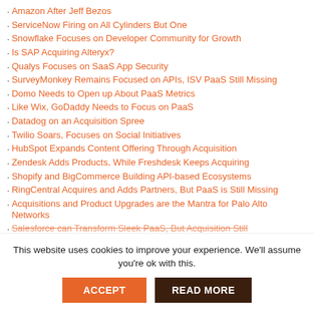Amazon After Jeff Bezos
ServiceNow Firing on All Cylinders But One
Snowflake Focuses on Developer Community for Growth
Is SAP Acquiring Alteryx?
Qualys Focuses on SaaS App Security
SurveyMonkey Remains Focused on APIs, ISV PaaS Still Missing
Domo Needs to Open up About PaaS Metrics
Like Wix, GoDaddy Needs to Focus on PaaS
Datadog on an Acquisition Spree
Twilio Soars, Focuses on Social Initiatives
HubSpot Expands Content Offering Through Acquisition
Zendesk Adds Products, While Freshdesk Keeps Acquiring
Shopify and BigCommerce Building API-based Ecosystems
RingCentral Acquires and Adds Partners, But PaaS is Still Missing
Acquisitions and Product Upgrades are the Mantra for Palo Alto Networks
Salesforce can Transform Sleek PaaS, But Acquisition Still
This website uses cookies to improve your experience. We'll assume you're ok with this.